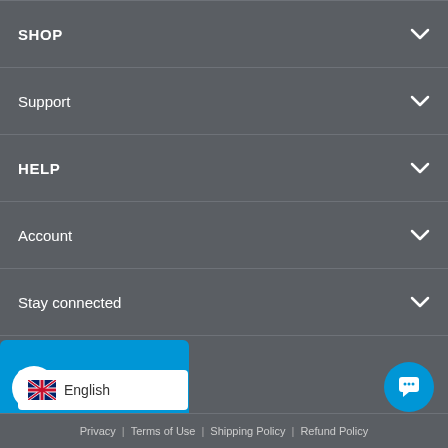SHOP
Support
HELP
Account
Stay connected
[Figure (logo): HP Official Licensee badge - blue rounded rectangle with HP logo and text 'Official Licensee']
English
Privacy | Terms of Use | Shipping Policy | Refund Policy